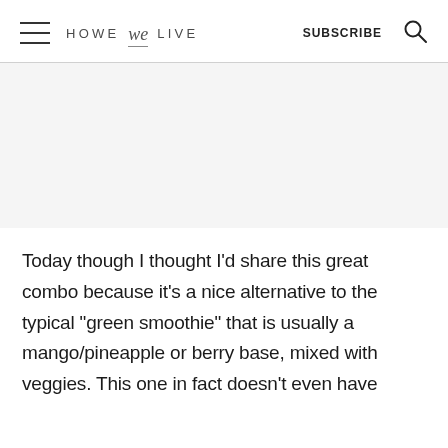HOWE we LIVE   SUBSCRIBE
[Figure (photo): Large image placeholder area (white/light gray), partially visible photo content]
Today though I thought I'd share this great combo because it's a nice alternative to the typical “green smoothie” that is usually a mango/pineapple or berry base, mixed with veggies. This one in fact doesn't even have